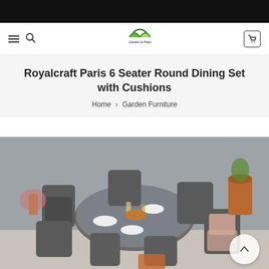[Figure (logo): Garden & Patio logo with umbrella icon]
Royalcraft Paris 6 Seater Round Dining Set with Cushions
Home › Garden Furniture
[Figure (photo): Royalcraft Paris 6 Seater Round Dining Set with Cushions displayed on a patio with grey brick wall background. Wicker chairs and round glass table set with plates, glasses and food. A -12% discount badge is visible in the top right corner.]